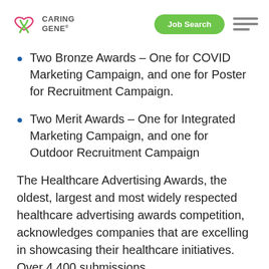Caring Gene — Job Search
Two Bronze Awards – One for COVID Marketing Campaign, and one for Poster for Recruitment Campaign.
Two Merit Awards – One for Integrated Marketing Campaign, and one for Outdoor Recruitment Campaign
The Healthcare Advertising Awards, the oldest, largest and most widely respected healthcare advertising awards competition, acknowledges companies that are excelling in showcasing their healthcare initiatives. Over 4,400 submissions received for the 38th Annual Health...